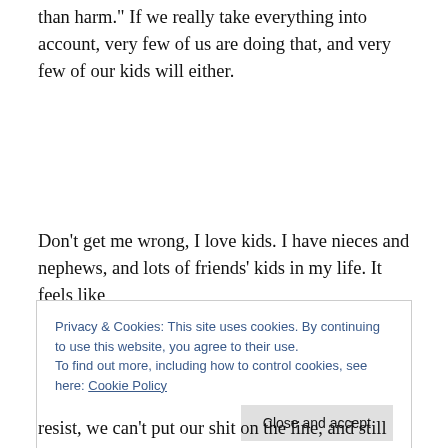than harm." If we really take everything into account, very few of us are doing that, and very few of our kids will either.
Don’t get me wrong, I love kids. I have nieces and nephews, and lots of friends’ kids in my life. It feels like
Privacy & Cookies: This site uses cookies. By continuing to use this website, you agree to their use.
To find out more, including how to control cookies, see here: Cookie Policy
resist, we can’t put our shit on the line, and still live up to